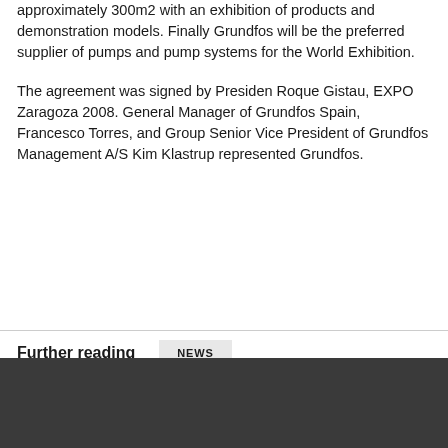approximately 300m2 with an exhibition of products and demonstration models. Finally Grundfos will be the preferred supplier of pumps and pump systems for the World Exhibition.
The agreement was signed by Presiden Roque Gistau, EXPO Zaragoza 2008. General Manager of Grundfos Spain, Francesco Torres, and Group Senior Vice President of Grundfos Management A/S Kim Klastrup represented Grundfos.
Further reading
NEWS